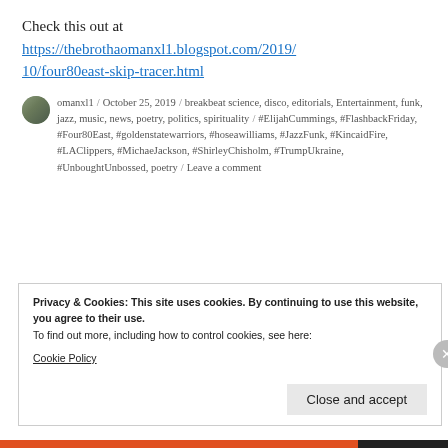Check this out at
https://thebrothaomanxl1.blogspot.com/2019/10/four80east-skip-tracer.html
omanxl1 / October 25, 2019 / breakbeat science, disco, editorials, Entertainment, funk, jazz, music, news, poetry, politics, spirituality / #ElijahCummings, #FlashbackFriday, #Four80East, #goldenstatewarriors, #hoseawilliams, #JazzFunk, #KincaidFire, #LAClippers, #MichaeJackson, #ShirleyChisholm, #TrumpUkraine, #UnboughtUnbossed, poetry / Leave a comment
Privacy & Cookies: This site uses cookies. By continuing to use this website, you agree to their use.
To find out more, including how to control cookies, see here: Cookie Policy
Close and accept